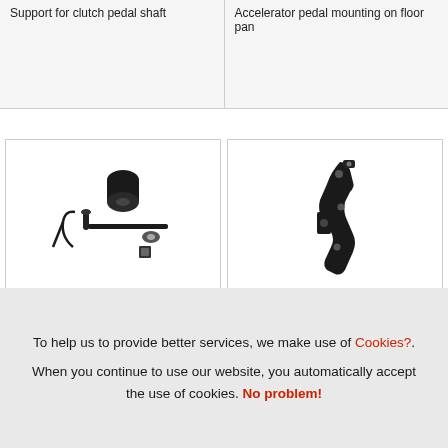Support for clutch pedal shaft
Accelerator pedal mounting on floor pan
[Figure (photo): Clutch pedal shaft support kit with bushings, spring, pin, rod, washer, and square nut laid out on white background]
[Figure (photo): Accelerator pedal mounting bracket on floor pan, black metal bracket component shown on white background]
To help us to provide better services, we make use of Cookies?. When you continue to use our website, you automatically accept the use of cookies. No problem!